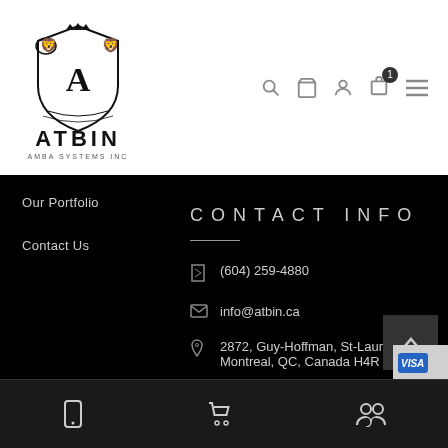[Figure (logo): ATBIN logo with heraldic crest featuring two lions, a crown, and an 'A' on a shield. Text reads ATBIN with tagline below.]
[Figure (other): Navigation icons: search, cart, user, bag with badge '1', and hamburger menu]
Our Portfolio
Contact Us
CONTACT INFO
(604) 259-4880
info@atbin.ca
2872, Guy-Hoffman, St-Lauren Montreal, QC, Canada H4R 2T
[Figure (other): Payment method logos: MasterCard, VISA, Skrill, PayPal, American Express, and partially visible another card]
[Figure (other): Bottom navigation bar with phone, cart, and people/group icons]